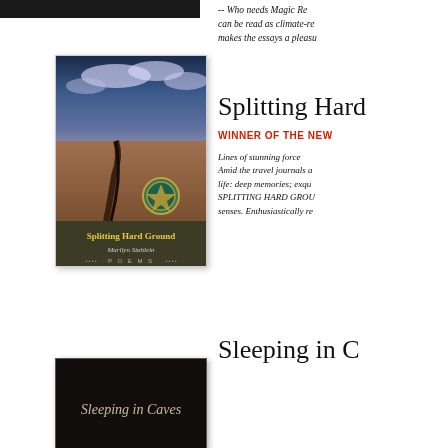[Figure (photo): Top strip: dark image bar, partially visible from previous content]
-- Who needs Magic Realism... can be read as climate-re... makes the essays a pleasu...
[Figure (photo): Book cover of 'Splitting Hard Ground' by Marilyn Stablein, POEMS. Shows aerial landscape photo with canyon/river and teal medallion logo.]
Splitting Hard
WINNER OF THE NEW
Lines of stunning force... Amid the travel journals a... life: deep memories; exqu... SPLITTING HARD GROU... senses. Enthusiastically re...
[Figure (photo): Book cover of 'Sleeping in Caves' partially visible at bottom, dark background with italic title lettering]
Sleeping in C